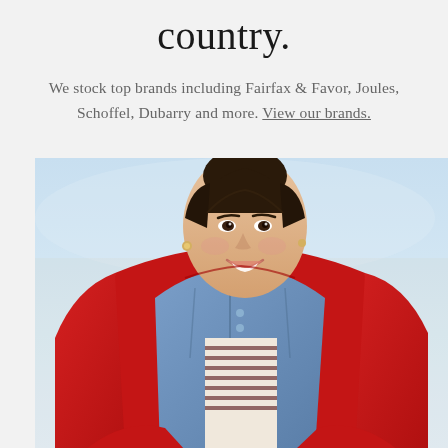country.
We stock top brands including Fairfax & Favor, Joules, Schoffel, Dubarry and more. View our brands.
[Figure (photo): Smiling young woman wearing a bright red jacket over a denim jacket and striped top, photographed against a light blue sky background]